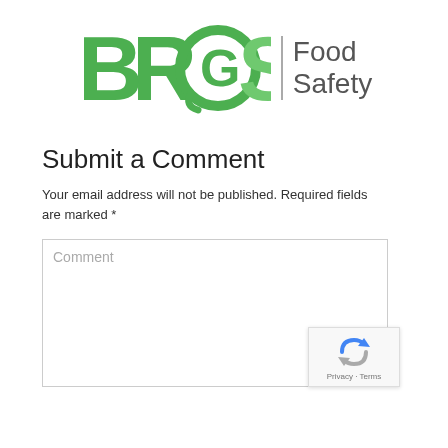[Figure (logo): BRCS Food Safety logo — BRCS letters in green on left, vertical bar divider, 'Food Safety' in gray text on right]
Submit a Comment
Your email address will not be published. Required fields are marked *
Comment
[Figure (logo): reCAPTCHA badge with spinning arrows icon and 'Privacy · Terms' text]